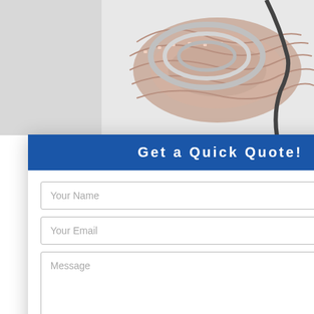[Figure (photo): Photo of LED strip light rolls coiled together, showing beige/pink and silver/white LED tape strips in a white box, partially visible at top of page.]
Get a Quick Quote!
Your Name
Your Email
Message
Submit
pcs into
into
-export carton
-export carton